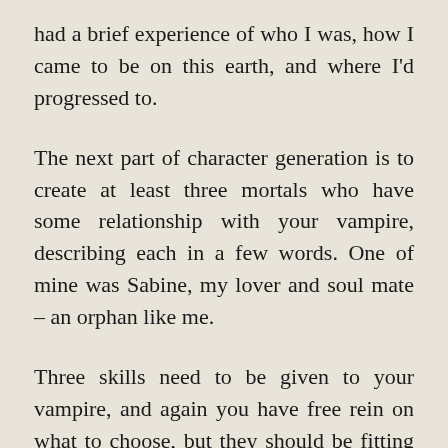had a brief experience of who I was, how I came to be on this earth, and where I'd progressed to.
The next part of character generation is to create at least three mortals who have some relationship with your vampire, describing each in a few words. One of mine was Sabine, my lover and soul mate – an orphan like me.
Three skills need to be given to your vampire, and again you have free rein on what to choose, but they should be fitting for your vampire. Literacy (he's an Optio), Killer